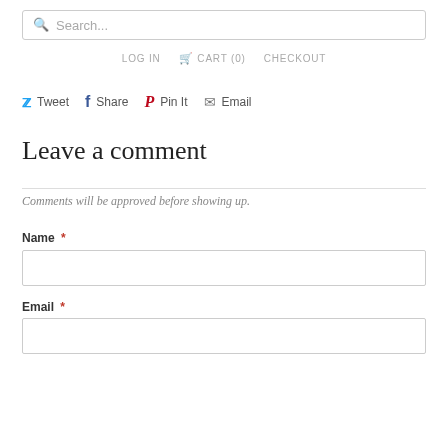Search...
LOG IN   CART (0)   CHECKOUT
Tweet   Share   Pin It   Email
Leave a comment
Comments will be approved before showing up.
Name *
Email *